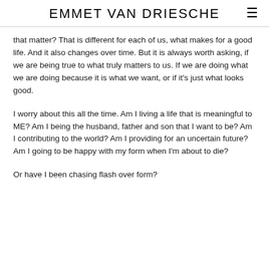EMMET VAN DRIESCHE
that matter? That is different for each of us, what makes for a good life. And it also changes over time. But it is always worth asking, if we are being true to what truly matters to us. If we are doing what we are doing because it is what we want, or if it's just what looks good.
I worry about this all the time. Am I living a life that is meaningful to ME? Am I being the husband, father and son that I want to be? Am I contributing to the world? Am I providing for an uncertain future? Am I going to be happy with my form when I'm about to die?
Or have I been chasing flash over form?